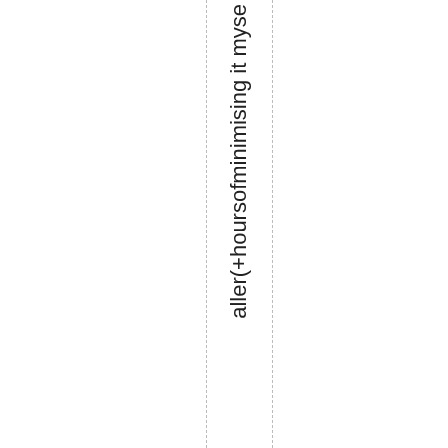aller(+hoursofminimising it myse